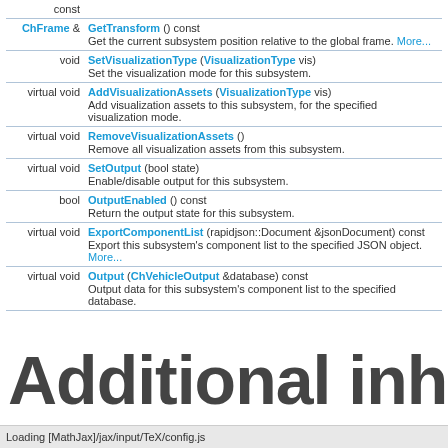| return type | method |
| --- | --- |
| const |  |
| ChFrame & | GetTransform () const
Get the current subsystem position relative to the global frame. More... |
| void | SetVisualizationType (VisualizationType vis)
Set the visualization mode for this subsystem. |
| virtual void | AddVisualizationAssets (VisualizationType vis)
Add visualization assets to this subsystem, for the specified visualization mode. |
| virtual void | RemoveVisualizationAssets ()
Remove all visualization assets from this subsystem. |
| virtual void | SetOutput (bool state)
Enable/disable output for this subsystem. |
| bool | OutputEnabled () const
Return the output state for this subsystem. |
| virtual void | ExportComponentList (rapidjson::Document &jsonDocument) const
Export this subsystem's component list to the specified JSON object. More... |
| virtual void | Output (ChVehicleOutput &database) const
Output data for this subsystem's component list to the specified database. |
Additional inherited
Loading [MathJax]/jax/input/TeX/config.js